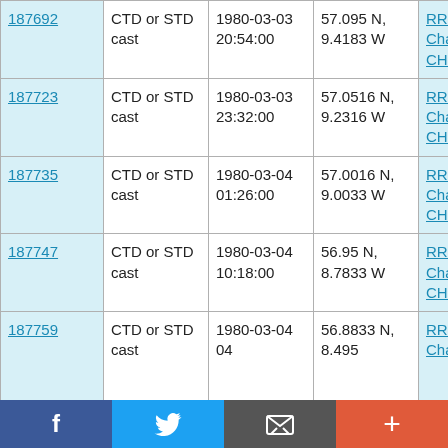| ID | Type | Date/Time | Location | Vessel |
| --- | --- | --- | --- | --- |
| 187692 | CTD or STD cast | 1980-03-03 20:54:00 | 57.095 N, 9.4183 W | RRS Challenger CH4/80 |
| 187723 | CTD or STD cast | 1980-03-03 23:32:00 | 57.0516 N, 9.2316 W | RRS Challenger CH4/80 |
| 187735 | CTD or STD cast | 1980-03-04 01:26:00 | 57.0016 N, 9.0033 W | RRS Challenger CH4/80 |
| 187747 | CTD or STD cast | 1980-03-04 10:18:00 | 56.95 N, 8.7833 W | RRS Challenger CH4/80 |
| 187759 | CTD or STD cast | 1980-03-04 | 56.8833 N, 8.495 | Challenger |
[Figure (infographic): Social media sharing bar with Facebook, Twitter, email, and plus buttons]